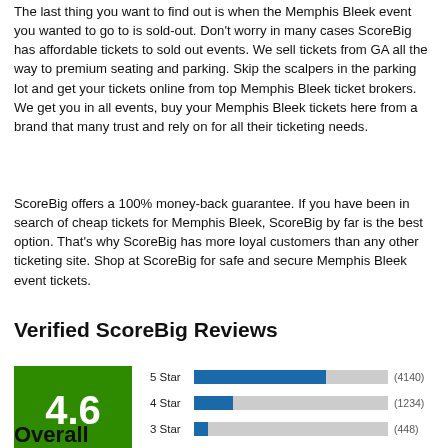The last thing you want to find out is when the Memphis Bleek event you wanted to go to is sold-out. Don't worry in many cases ScoreBig has affordable tickets to sold out events. We sell tickets from GA all the way to premium seating and parking. Skip the scalpers in the parking lot and get your tickets online from top Memphis Bleek ticket brokers. We get you in all events, buy your Memphis Bleek tickets here from a brand that many trust and rely on for all their ticketing needs.
ScoreBig offers a 100% money-back guarantee. If you have been in search of cheap tickets for Memphis Bleek, ScoreBig by far is the best option. That's why ScoreBig has more loyal customers than any other ticketing site. Shop at ScoreBig for safe and secure Memphis Bleek event tickets.
Verified ScoreBig Reviews
[Figure (bar-chart): ScoreBig Reviews]
Overall